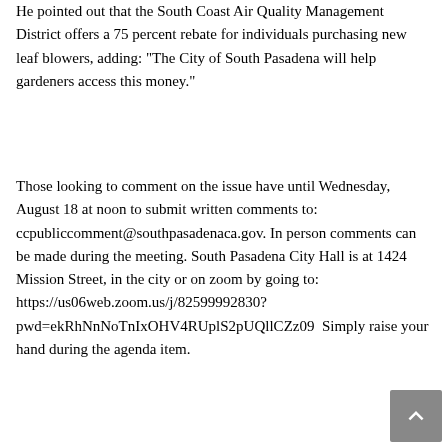He pointed out that the South Coast Air Quality Management District offers a 75 percent rebate for individuals purchasing new leaf blowers, adding: “The City of South Pasadena will help gardeners access this money.”
Those looking to comment on the issue have until Wednesday, August 18 at noon to submit written comments to: ccpubliccomment@southpasadenaca.gov. In person comments can be made during the meeting. South Pasadena City Hall is at 1424 Mission Street, in the city or on zoom by going to: https://us06web.zoom.us/j/82599992830?pwd=ekRhNnNoTnIxOHV4RUplS2pUQllCZz09  Simply raise your hand during the agenda item.